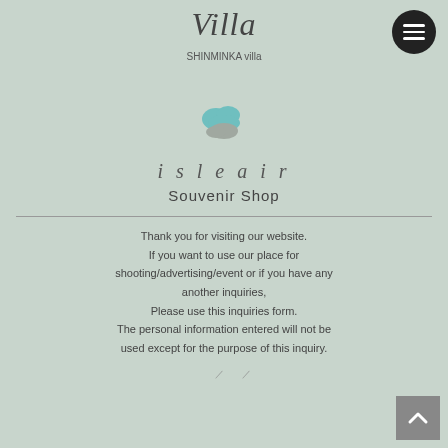Villa
SHINMINKA villa
[Figure (logo): isleair logo with teal cloud shape above grey shape, with italic script text 'i s l e a i r' and subtitle 'Souvenir Shop']
Thank you for visiting our website.
If you want to use our place for shooting/advertising/event or if you have any another inquiries,
Please use this inquiries form.
The personal information entered will not be used except for the purpose of this inquiry.
／　　／